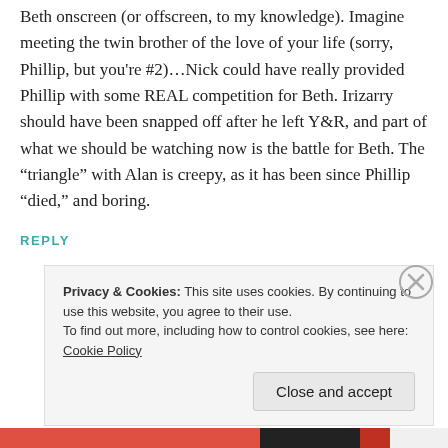Beth onscreen (or offscreen, to my knowledge). Imagine meeting the twin brother of the love of your life (sorry, Phillip, but you're #2)...Nick could have really provided Phillip with some REAL competition for Beth. Irizarry should have been snapped off after he left Y&R, and part of what we should be watching now is the battle for Beth. The “triangle” with Alan is creepy, as it has been since Phillip “died,” and boring.
REPLY
Privacy & Cookies: This site uses cookies. By continuing to use this website, you agree to their use.
To find out more, including how to control cookies, see here: Cookie Policy
Close and accept